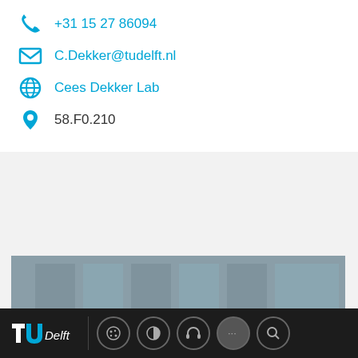+31 15 27 86094
C.Dekker@tudelft.nl
Cees Dekker Lab
58.F0.210
[Figure (photo): Portrait photo of a woman with long blonde hair, standing in front of a building with glass facade, looking slightly to the side]
This website uses cookies. By accepting, you give your permission to use data and cookies.
TUDelft [footer navigation icons]